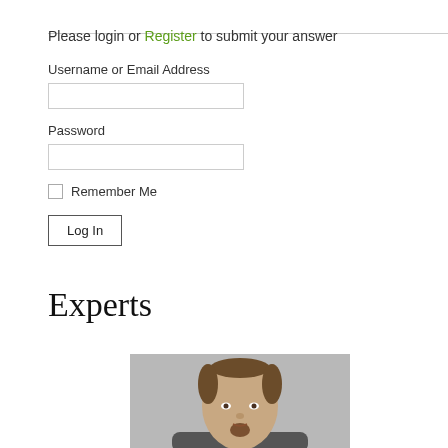Please login or Register to submit your answer
Username or Email Address
Password
Remember Me
Log In
Experts
[Figure (photo): Headshot photo of a middle-aged man with thinning hair and a goatee, against a gray background]